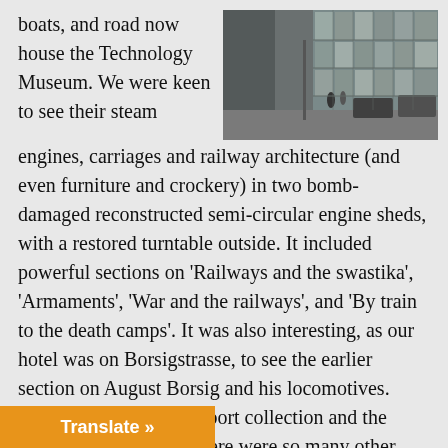boats, and road now house the Technology Museum. We were keen to see their steam
[Figure (photo): Street-level photograph of a modern building exterior with glass facade, parked cars visible, people walking, red structure in background.]
engines, carriages and railway architecture (and even furniture and crockery) in two bomb-damaged reconstructed semi-circular engine sheds, with a restored turntable outside. It included powerful sections on 'Railways and the swastika', 'Armaments', 'War and the railways', and 'By train to the death camps'. It was also interesting, as our hotel was on Borsigstrasse, to see the earlier section on August Borsig and his locomotives. Although the road transport collection and the brewery were closed, there were so many other aspects of technology to explore. In the factory and office building once used by a pioneering refrigeration equipment company (and complete with spiral staircase for horses and stables for sick horses) we examined pre WWII mechanical and post-WWII electromechanical and electronic Zuse computers and te                    radios, and gramophones; behind the engine